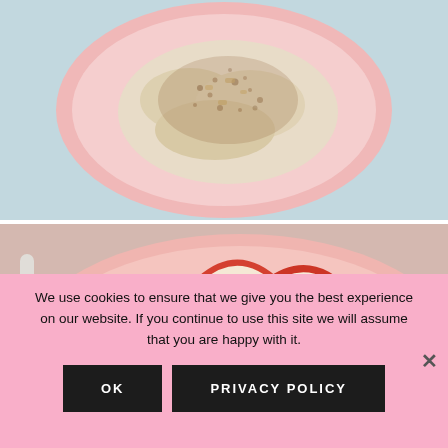[Figure (photo): Overhead view of a pink plate with oatmeal or porridge topped with cinnamon and chopped nuts on a light blue background]
[Figure (photo): Close-up of a pink plate with oatmeal or porridge topped with sliced red apple wedges, with a spoon visible on the left, on a pink background]
We use cookies to ensure that we give you the best experience on our website. If you continue to use this site we will assume that you are happy with it.
OK
PRIVACY POLICY